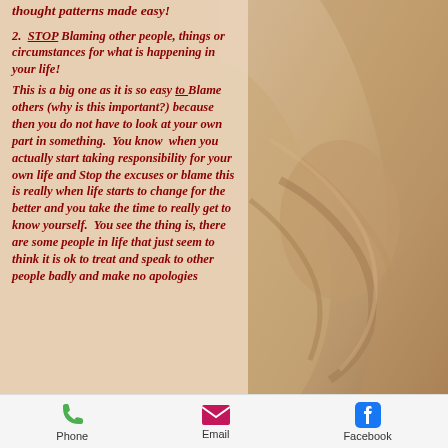thought patterns made easy!
2.  STOP Blaming other people, things or circumstances for what is happening in your life!
This is a big one as it is so easy to Blame others (why is this important?) because then you do not have to look at your own part in something.  You know  when you actually start taking responsibility for your own life and Stop the excuses or blame this is really when life starts to change for the better and you take the time to really get to know yourself.  You see the thing is, there are some people in life that just seem to think it is ok to treat and speak to other people badly and make no apologies
Phone  Email  Facebook